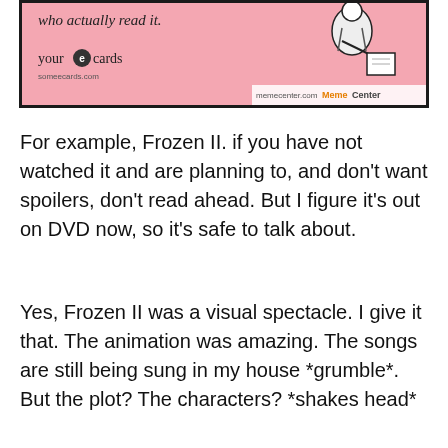[Figure (screenshot): A someecards meme image on a pink background showing text 'who actually read it.' with a figure of a person writing, and the someecards/memecenter branding at the bottom.]
For example, Frozen II. if you have not watched it and are planning to, and don't want spoilers, don't read ahead. But I figure it's out on DVD now, so it's safe to talk about.
Yes, Frozen II was a visual spectacle. I give it that. The animation was amazing. The songs are still being sung in my house *grumble*. But the plot? The characters? *shakes head*